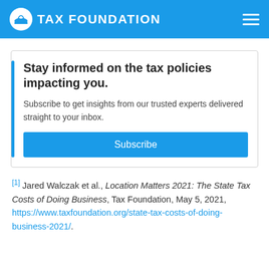TAX FOUNDATION
Stay informed on the tax policies impacting you.
Subscribe to get insights from our trusted experts delivered straight to your inbox.
Subscribe
[1] Jared Walczak et al., Location Matters 2021: The State Tax Costs of Doing Business, Tax Foundation, May 5, 2021, https://www.taxfoundation.org/state-tax-costs-of-doing-business-2021/.